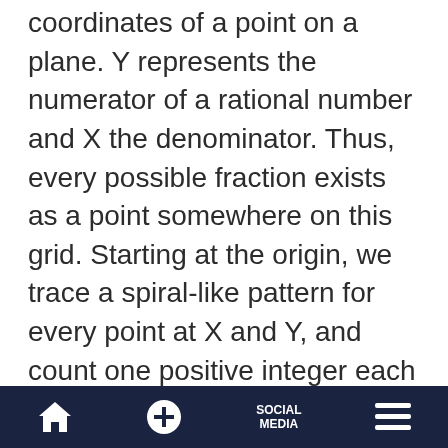coordinates of a point on a plane. Y represents the numerator of a rational number and X the denominator. Thus, every possible fraction exists as a point somewhere on this grid. Starting at the origin, we trace a spiral-like pattern for every point at X and Y, and count one positive integer each time we land on a unique fraction. (But we don't count duplicates such as 2/4, which equals 1/2, nor count division by zero—e.g., 0/0 or 1/0). Eventually, every X and Y combination will intersect the spiral and be assigned a positive integer. Thus, for every
Home | + | SOCIAL MEDIA | Menu